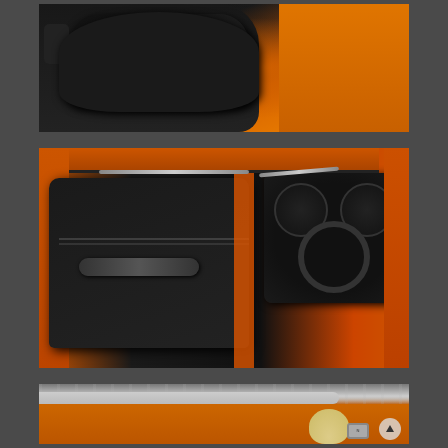[Figure (photo): Close-up photo of a classic car interior showing dark black seat upholstery with pleated design against an orange/red car body exterior.]
[Figure (photo): Photo of a classic car interior with the door open wide, showing black door panel with chrome door handle, orange/red body paint around the door frame, and the black dashboard with gauges visible inside.]
[Figure (photo): Exterior photo of a classic orange/amber colored muscle car showing the roofline and side profile, with a silver/chrome roof strip, shot inside a metal corrugated building. An up-arrow icon is visible in the lower right corner.]